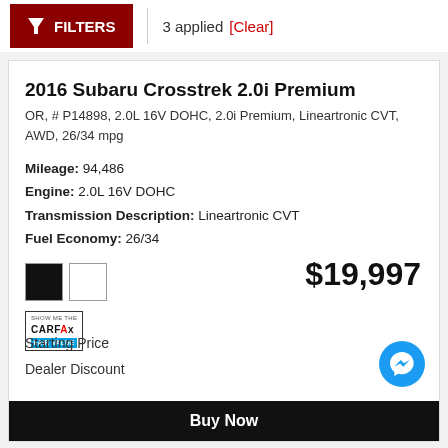FILTERS | 3 applied [Clear]
2016 Subaru Crosstrek 2.0i Premium
OR, # P14898, 2.0L 16V DOHC, 2.0i Premium, Lineartronic CVT, AWD, 26/34 mpg
Mileage: 94,486
Engine: 2.0L 16V DOHC
Transmission Description: Lineartronic CVT
Fuel Economy: 26/34
[Figure (other): Color swatches: black and white]
[Figure (logo): SHOW ME THE CARFAX FAIR VALUE badge]
$19,997
Starting Price
Dealer Discount
Buy Now